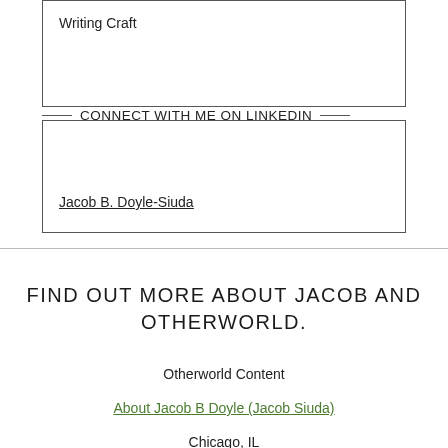Writing Craft
CONNECT WITH ME ON LINKEDIN
Jacob B. Doyle-Siuda
FIND OUT MORE ABOUT JACOB AND OTHERWORLD.
Otherworld Content
About Jacob B Doyle (Jacob Siuda)
Chicago, IL